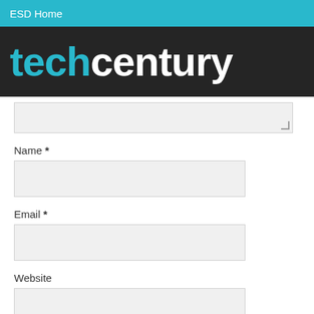ESD Home
[Figure (logo): techcentury logo with 'tech' in cyan and 'century' in white on dark background]
Name *
Email *
Website
Notify me of follow-up comments by email.